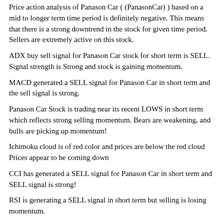Price action analysis of Panason Car ( (PanasonCar) ) based on a mid to longer term time period is definitely negative. This means that there is a strong downtrend in the stock for given time period. Sellers are extremely active on this stock.
ADX buy sell signal for Panason Car stock for short term is SELL. Signal strength is Strong and stock is gaining momentum.
MACD generated a SELL signal for Panason Car in short term and the sell signal is strong.
Panason Car Stock is trading near its recent LOWS in short term which reflects strong selling momentum. Bears are weakening, and bulls are picking up momentum!
Ichimoku cloud is of red color and prices are below the red cloud Prices appear to be coming down
CCI has generated a SELL signal for Panason Car in short term and SELL signal is strong!
RSI is generating a SELL signal in short term but selling is losing momentum.
MRSI is in negative zone. This is the SELL zone
Although the stock is in the SELL zone, but selling might be slowing down.